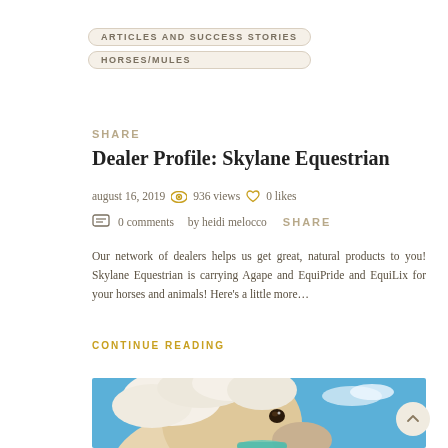ARTICLES AND SUCCESS STORIES
HORSES/MULES
SHARE
Dealer Profile: Skylane Equestrian
august 16, 2019   936 views   0 likes   0 comments   by heidi melocco   SHARE
Our network of dealers helps us get great, natural products to you! Skylane Equestrian is carrying Agape and EquiPride and EquiLix for your horses and animals! Here’s a little more…
CONTINUE READING
[Figure (photo): Close-up photograph of a light-colored horse with white mane against a blue sky background]